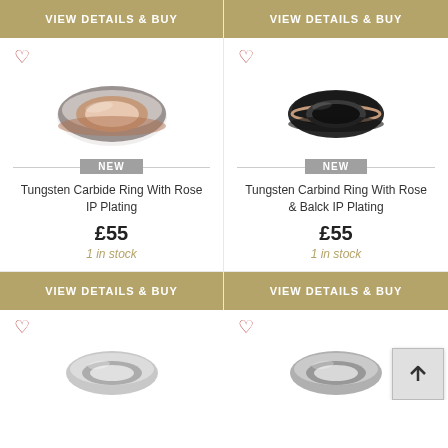[Figure (screenshot): E-commerce product listing page showing tungsten rings with buy buttons, new badges, prices and stock info]
VIEW DETAILS & BUY
VIEW DETAILS & BUY
[Figure (photo): Tungsten Carbide Ring with rose gold IP plating, domed band]
[Figure (photo): Tungsten Carbide Ring with black and rose IP plating, flat band]
NEW
NEW
Tungsten Carbide Ring With Rose IP Plating
Tungsten Carbind Ring With Rose & Balck IP Plating
£55
£55
1 in stock
1 in stock
VIEW DETAILS & BUY
VIEW DETAILS & BUY